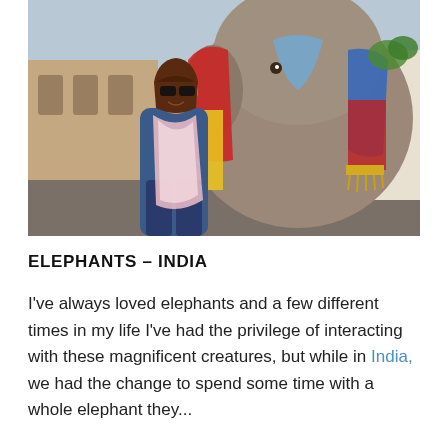[Figure (photo): A woman with dark hair and sunglasses smiling and posing next to a large decorated elephant. The elephant is adorned with colorful fabric (red, blue, yellow). Background shows a stone courtyard. The setting appears to be India.]
ELEPHANTS – INDIA
I've always loved elephants and a few different times in my life I've had the privilege of interacting with these magnificent creatures, but while in India, we had the change to spend some time with a whole elephant they...